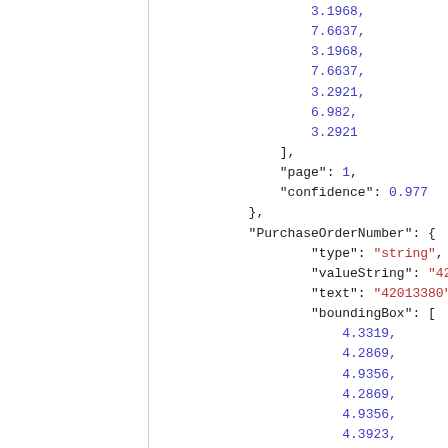3.1968,
                        7.6637,
                        3.1968,
                        7.6637,
                        3.2921,
                        6.982,
                        3.2921
                    ],
                    "page": 1,
                    "confidence": 0.977
                },
                "PurchaseOrderNumber": {
                        "type": "string",
                        "valueString": "42013380",
                        "text": "42013380",
                        "boundingBox": [
                            4.3319,
                            4.2869,
                            4.9356,
                            4.2869,
                            4.9356,
                            4.3923,
                            4.3319,
                            4.3923
                        ],